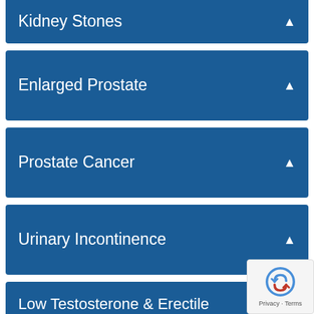Kidney Stones
Enlarged Prostate
Prostate Cancer
Urinary Incontinence
Low Testosterone & Erectile Dysfunction
Contact Us